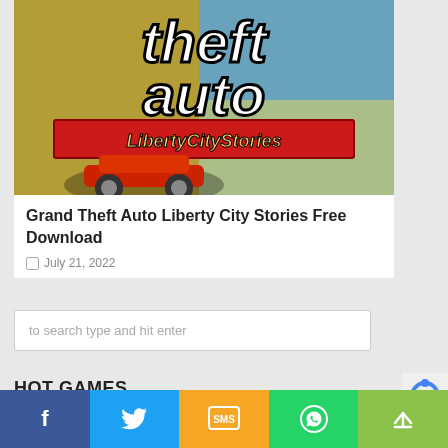[Figure (photo): Grand Theft Auto Liberty City Stories game cover art showing stylized comic-book characters and the game title text]
Grand Theft Auto Liberty City Stories Free Download
July 21, 2022
to search type and hit enter
HOT GAMES